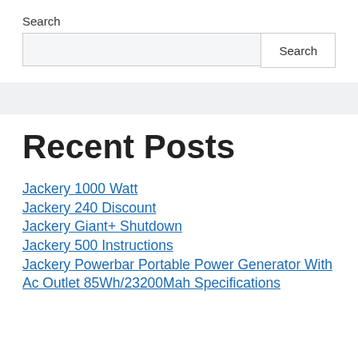Search
Search (input box and button)
Recent Posts
Jackery 1000 Watt
Jackery 240 Discount
Jackery Giant+ Shutdown
Jackery 500 Instructions
Jackery Powerbar Portable Power Generator With Ac Outlet 85Wh/23200Mah Specifications